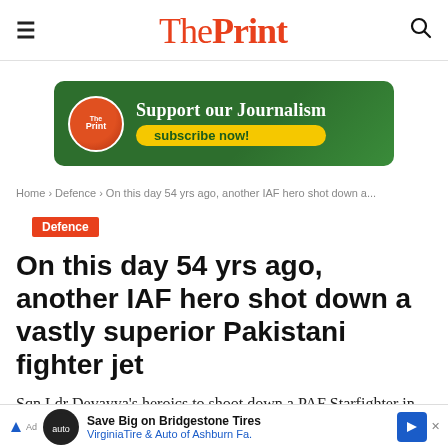The Print
[Figure (infographic): ThePrint ad banner: green background with ThePrint logo circle, text 'Support our Journalism' and yellow 'subscribe now!' button]
Home › Defence › On this day 54 yrs ago, another IAF hero shot down a...
Defence
On this day 54 yrs ago, another IAF hero shot down a vastly superior Pakistani fighter jet
Sqn Ldr Devayya's heroics to shoot down a PAF Starfighter in 1965 are among IAF's finest... Abhi...
[Figure (infographic): Bottom ad banner: Save Big on Bridgestone Tires - Virginia Tire & Auto of Ashburn Fa. with blue arrow icon]